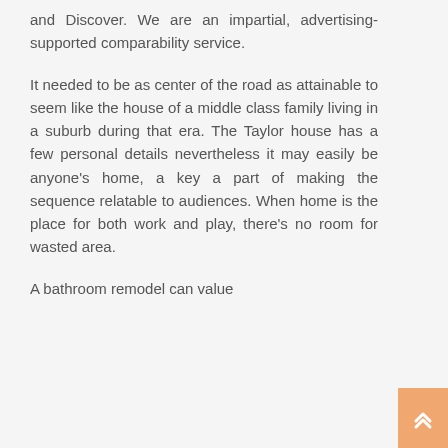and Discover. We are an impartial, advertising-supported comparability service.
It needed to be as center of the road as attainable to seem like the house of a middle class family living in a suburb during that era. The Taylor house has a few personal details nevertheless it may easily be anyone's home, a key a part of making the sequence relatable to audiences. When home is the place for both work and play, there's no room for wasted area.
A bathroom remodel can value